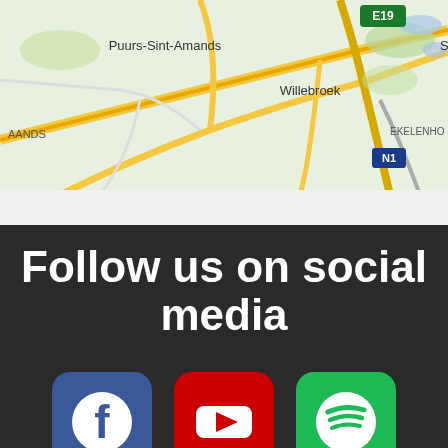[Figure (map): Partial Google Maps screenshot showing Puurs-Sint-Amands, Willebroek, E19 motorway sign, EKELENHO area label, N1 road, with green and yellow road network on light green background.]
Follow us on social media
[Figure (other): Three social media icons in a row: Facebook (blue rounded square with white 'f' circle), YouTube (red rounded square with white play button triangle), Spotify (green rounded square with white Spotify logo)]